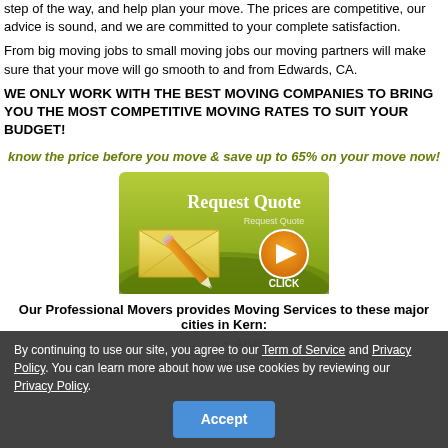step of the way, and help plan your move. The prices are competitive, our advice is sound, and we are committed to your complete satisfaction.
From big moving jobs to small moving jobs our moving partners will make sure that your move will go smooth to and from Edwards, CA.
WE ONLY WORK WITH THE BEST MOVING COMPANIES TO BRING YOU THE MOST COMPETITIVE MOVING RATES TO SUIT YOUR BUDGET!
know the price before you move & save up to 65% on your move now!
[Figure (illustration): Request Quote button graphic with envelope, pencil and orange play/click button on green background]
Our Professional Movers provides Moving Services to these major cities in Kern:
Arvin
Bakersfield
By continuing to use our site, you agree to our Term of Service and Privacy Policy. You can learn more about how we use cookies by reviewing our Privacy Policy.
Accept